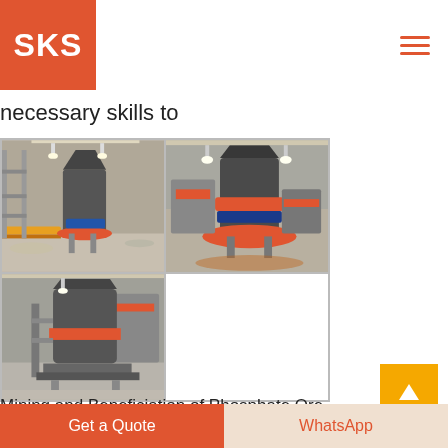SKS
necessary skills to
[Figure (photo): Three photos of industrial cone crushers in a manufacturing facility, arranged in a 2x2 grid (bottom-right cell empty). Machines show heavy equipment with orange and blue painted components in a large warehouse setting.]
Mining and Beneficiation of Phosphate Ore